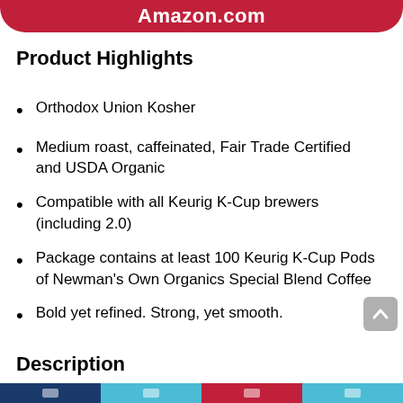Amazon.com
Product Highlights
Orthodox Union Kosher
Medium roast, caffeinated, Fair Trade Certified and USDA Organic
Compatible with all Keurig K-Cup brewers (including 2.0)
Package contains at least 100 Keurig K-Cup Pods of Newman's Own Organics Special Blend Coffee
Bold yet refined. Strong, yet smooth.
Description